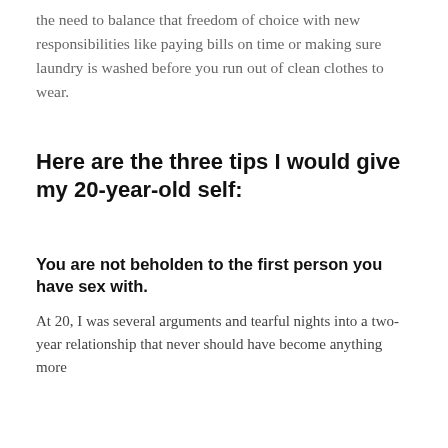the need to balance that freedom of choice with new responsibilities like paying bills on time or making sure laundry is washed before you run out of clean clothes to wear.
Here are the three tips I would give my 20-year-old self:
You are not beholden to the first person you have sex with.
At 20, I was several arguments and tearful nights into a two-year relationship that never should have become anything more